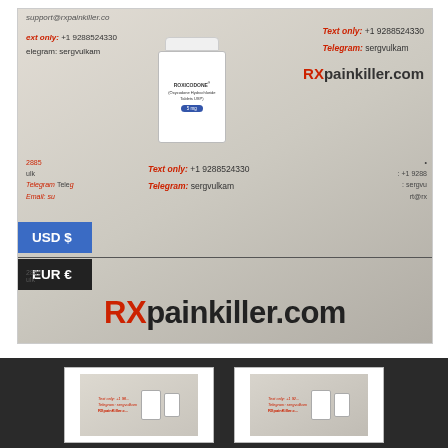[Figure (photo): Product photo showing a white pill bottle labeled ROXICODONE (Oxycodone Hydrochloride Tablets USP) placed on a promotional sheet with RXpainkiller.com branding, text only +1 9288524330, Telegram: sergvulkam, support@rxpainkiller.co. USD $ and EUR € currency badges overlay the left side.]
[Figure (photo): Thumbnail image of the same product, two white bottles on promotional sheet]
[Figure (photo): Thumbnail image of two white bottles on promotional rxpainkiller sheet]